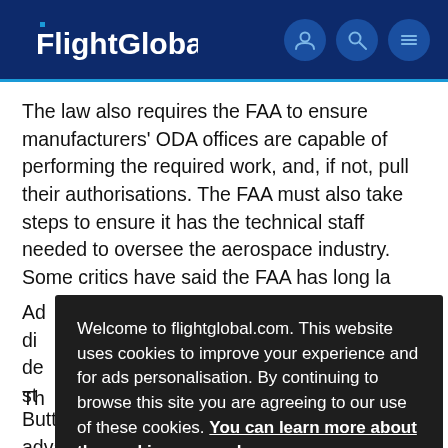FlightGlobal
The law also requires the FAA to ensure manufacturers' ODA offices are capable of performing the required work, and, if not, pull their authorisations. The FAA must also take steps to ensure it has the technical staff needed to oversee the aerospace industry. Some critics have said the FAA has long la[cked sufficient staff]
Ad[ditional partial text] di[...] de[...] st[...]
Welcome to flightglobal.com. This website uses cookies to improve your experience and for ads personalisation. By continuing to browse this site you are agreeing to our use of these cookies. You can learn more about the cookies we use here.
OK
Th[...]
Buttigieg's comments reflected eagerness to advance the law's requirements.